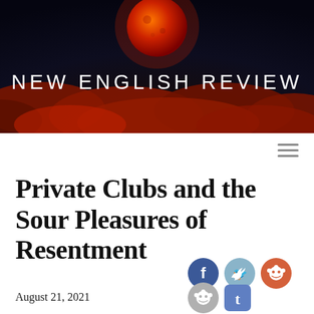[Figure (illustration): New English Review website header banner with a dark navy background, red/orange moon at top center, dramatic red clouds, and the text NEW ENGLISH REVIEW in white spaced capitals]
Private Clubs and the Sour Pleasures of Resentment
August 21, 2021